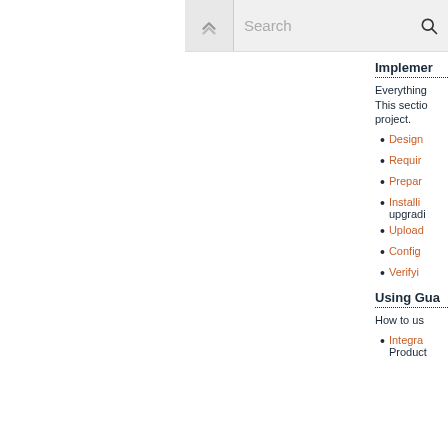Search
Implementing...
Everything...
This section... project.
Design...
Requir...
Prepar...
Installing... upgradi...
Upload...
Config...
Verifying...
Using Gua...
How to us...
Integra... Product...